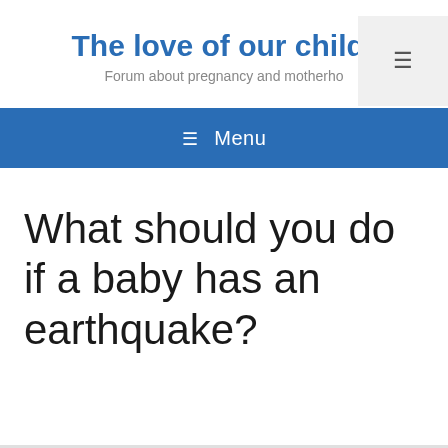The love of our childr
Forum about pregnancy and motherho
What should you do if a baby has an earthquake?